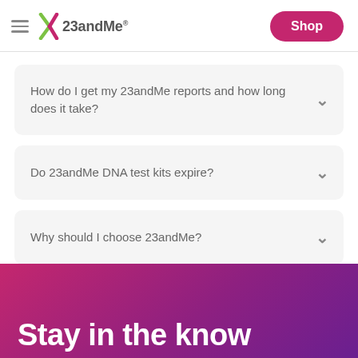23andMe
How do I get my 23andMe reports and how long does it take?
Do 23andMe DNA test kits expire?
Why should I choose 23andMe?
Stay in the know